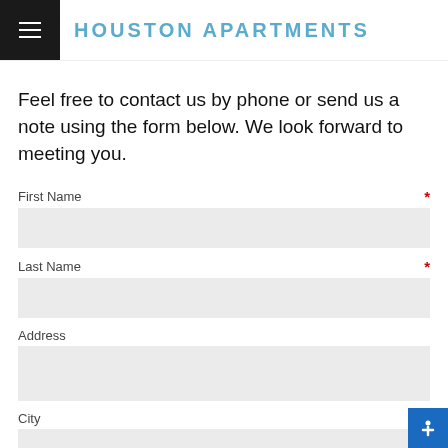HOUSTON APARTMENTS
Feel free to contact us by phone or send us a note using the form below. We look forward to meeting you.
First Name *
Last Name *
Address
City